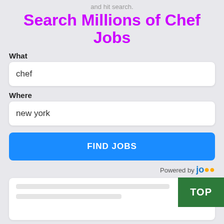and hit search.
Search Millions of Chef Jobs
What
chef
Where
new york
FIND JOBS
Powered by jo...
TOP